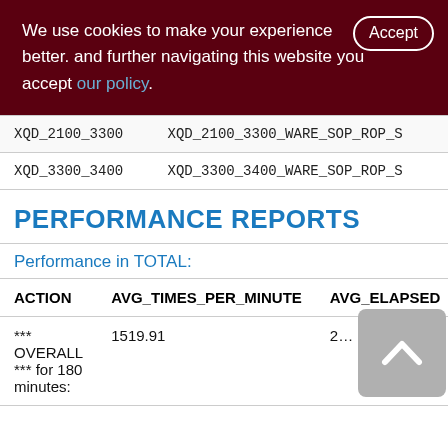We use cookies to make your experience better. By accepting and further navigating this website you accept our policy.
| XQD_2100_3300 | XQD_2100_3300_WARE_SOP_ROP_S |
| XQD_3300_3400 | XQD_3300_3400_WARE_SOP_ROP_S |
PERFORMANCE REPORTS
Performance in TOTAL:
| ACTION | AVG_TIMES_PER_MINUTE | AVG_ELAPSED |
| --- | --- | --- |
| ***
OVERALL
*** for 180
minutes: | 1519.91 | 2... |